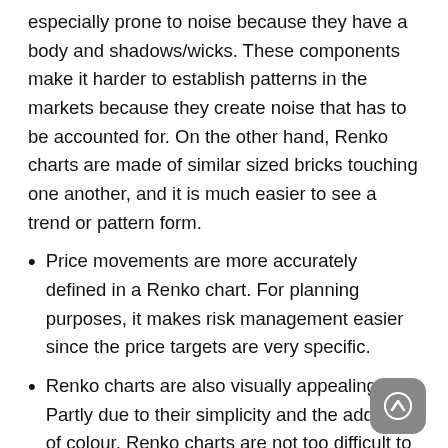especially prone to noise because they have a body and shadows/wicks. These components make it harder to establish patterns in the markets because they create noise that has to be accounted for. On the other hand, Renko charts are made of similar sized bricks touching one another, and it is much easier to see a trend or pattern form.
Price movements are more accurately defined in a Renko chart. For planning purposes, it makes risk management easier since the price targets are very specific.
Renko charts are also visually appealing. Partly due to their simplicity and the addition of colour, Renko charts are not too difficult to interpret.
Difference between price and time chart and just